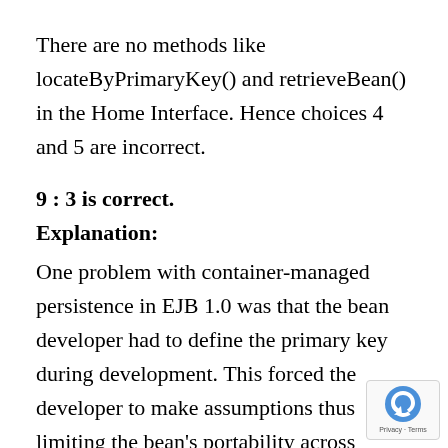There are no methods like locateByPrimaryKey() and retrieveBean() in the Home Interface. Hence choices 4 and 5 are incorrect.
9 : 3 is correct.
Explanation:
One problem with container-managed persistence in EJB 1.0 was that the bean developer had to define the primary key during development. This forced the developer to make assumptions thus limiting the bean's portability across databases. EJB 1.1 allows the primary key to remain undefined until deployment. Hence choice 3 is correct.